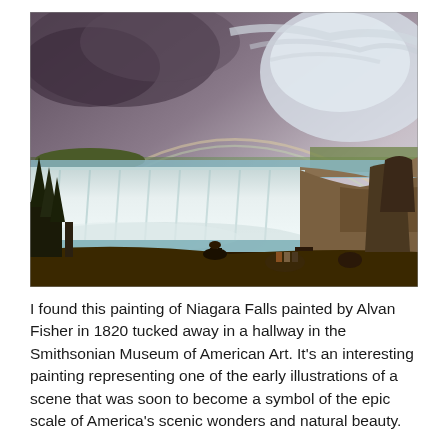[Figure (illustration): Oil painting of Niagara Falls by Alvan Fisher (1820). The painting shows a wide panoramic view of Niagara Falls with dramatic rushing white water cascading over the falls. In the foreground there are dark trees and small human figures. The sky features dramatic clouds and a faint rainbow arc. The scene is rendered in warm browns, greens, and whites typical of early 19th century American landscape painting.]
I found this painting of Niagara Falls painted by Alvan Fisher in 1820 tucked away in a hallway in the Smithsonian Museum of American Art. It's an interesting painting representing one of the early illustrations of a scene that was soon to become a symbol of the epic scale of America's scenic wonders and natural beauty.